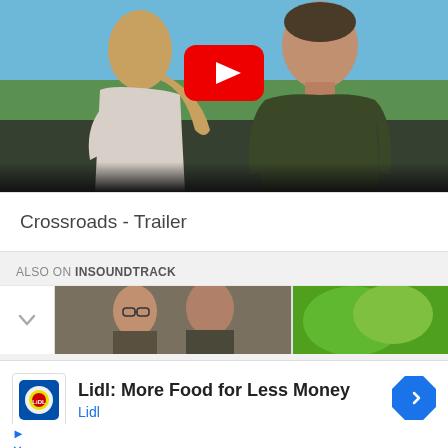[Figure (screenshot): YouTube video thumbnail showing two people outdoors — a woman with blonde hair in ponytail (back to camera) and a man in dark t-shirt facing her, with YouTube play button overlay. Outdoor landscape background with blue sky.]
Crossroads - Trailer
ALSO ON INSOUNDTRACK
[Figure (photo): Two small thumbnail images side by side: left thumbnail shows people's faces (muted tones), right thumbnail shows colorful nature/foliage image.]
Lidl: More Food for Less Money
Lidl